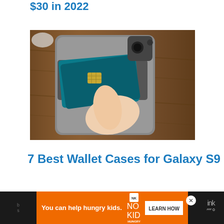$30 in 2022
[Figure (photo): Hand holding a Samsung Galaxy S9 smartphone in a gray wallet case, with credit cards visible in the card slot, on a wooden surface]
7 Best Wallet Cases for Galaxy S9
[Figure (infographic): Advertisement banner: 'You can help hungry kids. NO KID HUNGRY LEARN HOW' with close button and dark background edges]